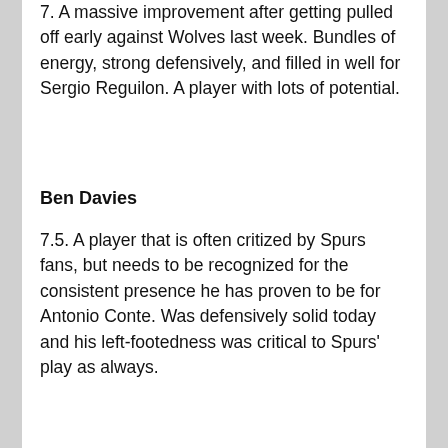7. A massive improvement after getting pulled off early against Wolves last week. Bundles of energy, strong defensively, and filled in well for Sergio Reguilon. A player with lots of potential.
Ben Davies
7.5. A player that is often critized by Spurs fans, but needs to be recognized for the consistent presence he has proven to be for Antonio Conte. Was defensively solid today and his left-footedness was critical to Spurs' play as always.
Eric Dier
7.5. A player Spurs could not have won without today at the heart of defense. Dier had a very steady performance in his first game back from injury and dealt with City's crossing well.